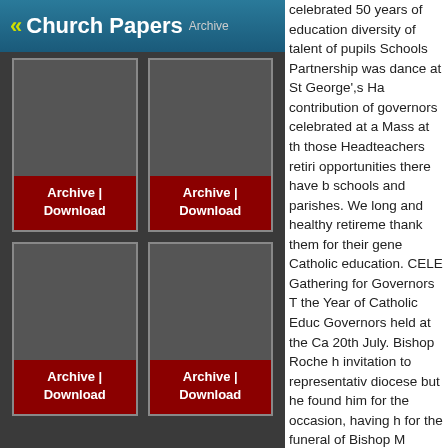Church Papers Archive
[Figure (screenshot): Archive | Download button card 1]
[Figure (screenshot): Archive | Download button card 2]
[Figure (screenshot): Archive | Download button card 3]
[Figure (screenshot): Archive | Download button card 4]
celebrated 50 years of education... diversity of talent of pupils... Schools Partnership was... dance at St George's Ha... contribution of governors... celebrated at a Mass at th... those Headteachers retiri... opportunities there have b... schools and parishes. We... long and healthy retireme... thank them for their gene... Catholic education. CELE... Gathering for Governors T... the Year of Catholic Educ... Governors held at the Ca... 20th July. Bishop Roche h... invitation to representativ... diocese but he found him... for the occasion, having h... for the funeral of Bishop M... Anglia. In his place the ch... Mgr. John Wilson, the Epis... Evangelisation. Mgr Wilso... from across the diocese w... the Bishop and sa...
Contact Us
Current Catholic Papers
Church Advertising
www.CatholicDirectory.org